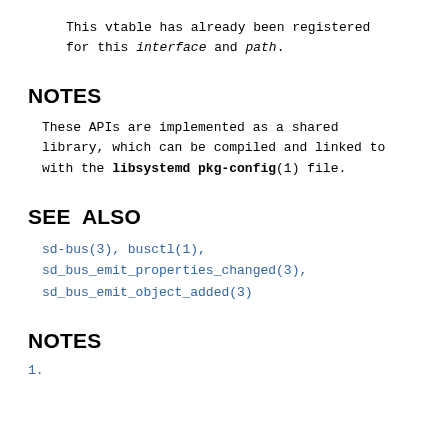This vtable has already been registered for this interface and path.
NOTES
These APIs are implemented as a shared library, which can be compiled and linked to with the libsystemd pkg-config(1) file.
SEE ALSO
sd-bus(3), busctl(1), sd_bus_emit_properties_changed(3), sd_bus_emit_object_added(3)
NOTES
1.